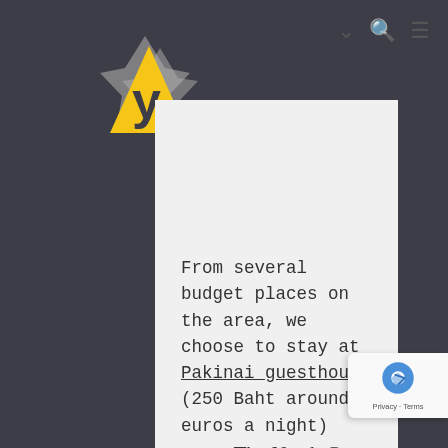[Figure (logo): Yellow triangle with letter y logo and grey decorative star shape behind it]
From several budget places on the area, we choose to stay at Pakinai guesthouse (250 Baht around 8 euros a night) near The North Gate Jazz Club where we end up our first night listening to musicians from different nationalities. Strangers who become friends in the passage of jazzy tunes and cheap